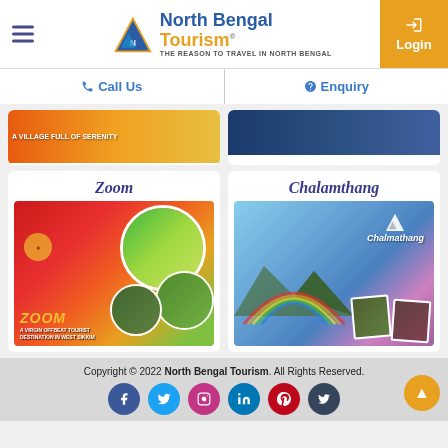North Bengal Tourism - THE REASON TO TRAVEL IN NORTH BENGAL | Login
Call Us | Enquiry
[Figure (photo): Partial view of two destination cards - village scene and mountain scene]
[Figure (photo): Zoom - A virgin offbeat tourist destination in West Sikkim - collage of oranges, mountains, and village]
[Figure (photo): Chalamthang - rainbow landscape with photos collage and logo]
Copyright © 2022 North Bengal Tourism. All Rights Reserved.